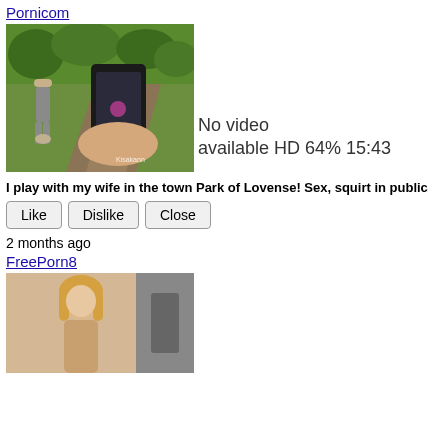Pornicom
[Figure (screenshot): Thumbnail image of outdoor scene with woman and phone, watermark 'Kisakann']
No video available HD 64% 15:43
I play with my wife in the town Park of Lovense! Sex, squirt in public
Like  Dislike  Close
2 months ago
FreePorn8
[Figure (screenshot): Partial thumbnail of blonde woman]